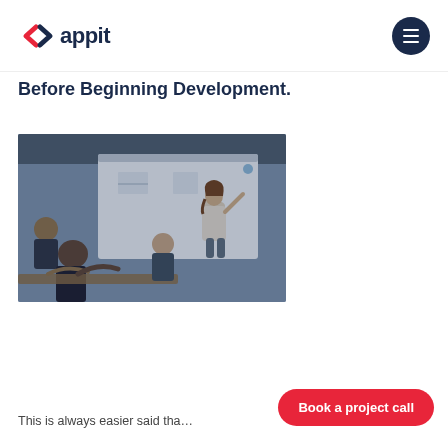appit
Before Beginning Development.
[Figure (photo): A woman with curly hair presenting at a whiteboard in front of a small audience seated at a table in a modern office setting.]
This is always easier said tha…
Book a project call